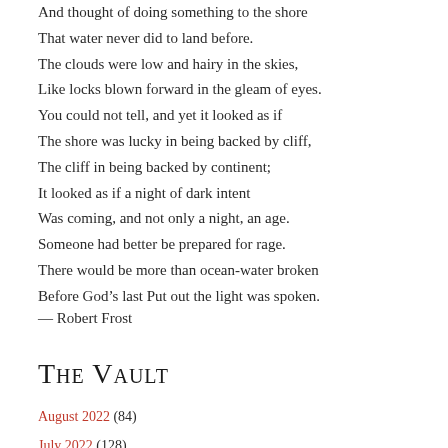And thought of doing something to the shore
That water never did to land before.
The clouds were low and hairy in the skies,
Like locks blown forward in the gleam of eyes.
You could not tell, and yet it looked as if
The shore was lucky in being backed by cliff,
The cliff in being backed by continent;
It looked as if a night of dark intent
Was coming, and not only a night, an age.
Someone had better be prepared for rage.
There would be more than ocean-water broken
Before God’s last Put out the light was spoken.
— Robert Frost
The Vault
August 2022 (84)
July 2022 (128)
June 2022 (117)